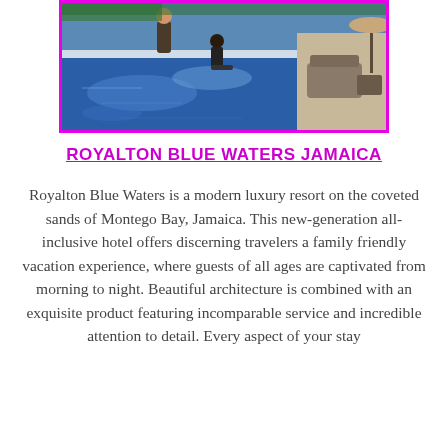[Figure (photo): Photo of a luxury resort swimming pool area with people relaxing. Children and adults near an infinity pool with outdoor seating and umbrellas visible. Framed with a magenta/pink border.]
ROYALTON BLUE WATERS JAMAICA
Royalton Blue Waters is a modern luxury resort on the coveted sands of Montego Bay, Jamaica. This new-generation all-inclusive hotel offers discerning travelers a family friendly vacation experience, where guests of all ages are captivated from morning to night. Beautiful architecture is combined with an exquisite product featuring incomparable service and incredible attention to detail. Every aspect of your stay